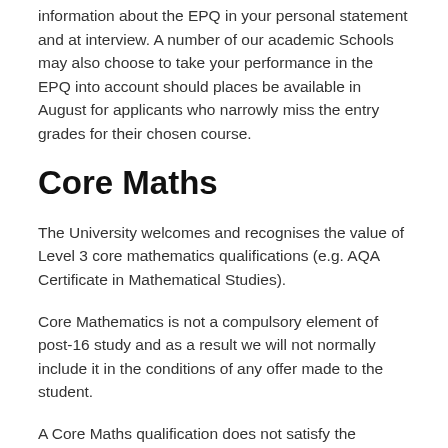information about the EPQ in your personal statement and at interview. A number of our academic Schools may also choose to take your performance in the EPQ into account should places be available in August for applicants who narrowly miss the entry grades for their chosen course.
Core Maths
The University welcomes and recognises the value of Level 3 core mathematics qualifications (e.g. AQA Certificate in Mathematical Studies).
Core Mathematics is not a compulsory element of post-16 study and as a result we will not normally include it in the conditions of any offer made to the student.
A Core Maths qualification does not satisfy the